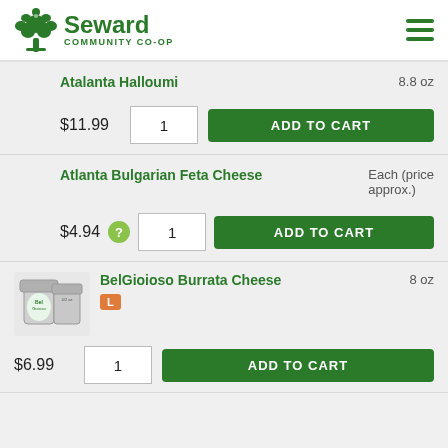Seward Community Co-op
Atalanta Halloumi — 8.8 oz — $11.99 — Qty: 1
Atlanta Bulgarian Feta Cheese — Each (price approx.) — $4.94 — Qty: 1
BelGioioso Burrata Cheese — 8 oz — L — $6.99 — Qty: 1